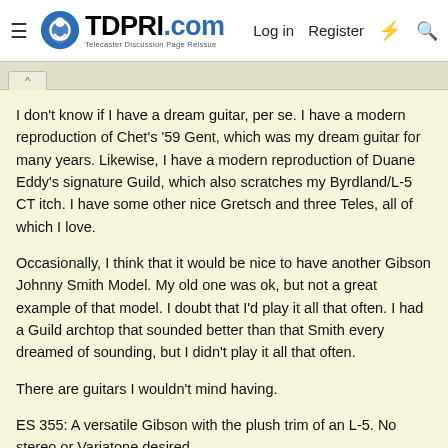TDPRI.com — Telecaster Discussion Page Reissue | Log in | Register
I don't know if I have a dream guitar, per se. I have a modern reproduction of Chet's '59 Gent, which was my dream guitar for many years. Likewise, I have a modern reproduction of Duane Eddy's signature Guild, which also scratches my Byrdland/L-5 CT itch. I have some other nice Gretsch and three Teles, all of which I love.
Occasionally, I think that it would be nice to have another Gibson Johnny Smith Model. My old one was ok, but not a great example of that model. I doubt that I'd play it all that often. I had a Guild archtop that sounded better than that Smith every dreamed of sounding, but I didn't play it all that often.
There are guitars I wouldn't mind having.
ES 355: A versatile Gibson with the plush trim of an L-5. No stereo or Variatone desired.